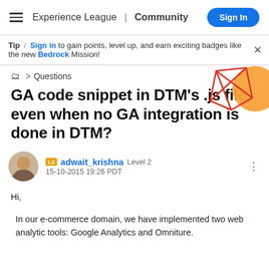Experience League | Community  Sign In
Tip / Sign in to gain points, level up, and earn exciting badges like the new Bedrock Mission!
> Questions
[Figure (illustration): Decorative geometric shapes: red outline polygon and orange circle in top right corner]
GA code snippet in DTM's .js file, even when no GA integration is done in DTM?
adwait_krishna  Level 2
15-10-2015 19:26 PDT
Hi,
In our e-commerce domain, we have implemented two web analytic tools: Google Analytics and Omniture.